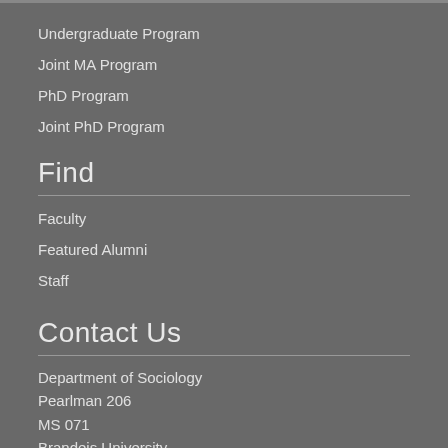Undergraduate Program
Joint MA Program
PhD Program
Joint PhD Program
Find
Faculty
Featured Alumni
Staff
Contact Us
Department of Sociology
Pearlman 206
MS 071
Brandeis University